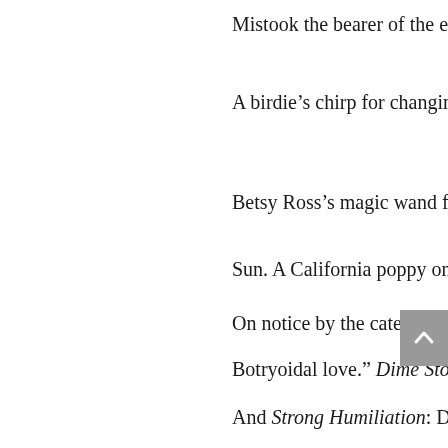Mistook the bearer of the essence for the essence;
A birdie’s chirp for changing of the guard, or
Betsy Ross’s magic wand for rays of golden
Sun. A California poppy on Route 66 was put
On notice by the caterpillar: “A forbidden,
Botryoidal love.” Dime Store Denali, Misanthropy
And Strong Humiliation: Drugs for intellectual
Debugging.  Al Capone and motorcycles scattered